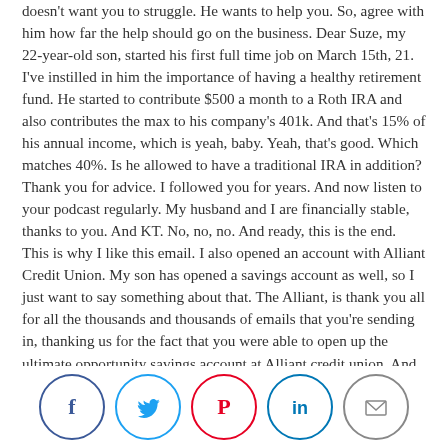doesn't want you to struggle. He wants to help you. So, agree with him how far the help should go on the business. Dear Suze, my 22-year-old son, started his first full time job on March 15th, 21. I've instilled in him the importance of having a healthy retirement fund. He started to contribute $500 a month to a Roth IRA and also contributes the max to his company's 401k. And that's 15% of his annual income, which is yeah, baby. Yeah, that's good. Which matches 40%. Is he allowed to have a traditional IRA in addition? Thank you for advice. I followed you for years. And now listen to your podcast regularly. My husband and I are financially stable, thanks to you. And KT. No, no, no. And ready, this is the end. This is why I like this email. I also opened an account with Alliant Credit Union. My son has opened a savings account as well, so I just want to say something about that. The Alliant, is thank you all for all the thousands and thousands of emails that you're sending in, thanking us for the fact that you were able to open up the ultimate opportunity savings account at Alliant credit union. And for those of you who don't know, you put in at least $100 a month, every month for 12 consecutive months. At the end of the time, you'll get $100 bonus, which is a 16.7% return on your money. But don't send thank you's to us because it's Alliant credit union that did it. Thank Alliant because if you think about it and they have to give $100 to tens and tens of thousands of people, it's going to cost them
[Figure (infographic): Social media sharing icons: Facebook (blue circle), Twitter (blue circle), Pinterest (red circle), LinkedIn (blue circle), Email (grey circle)]